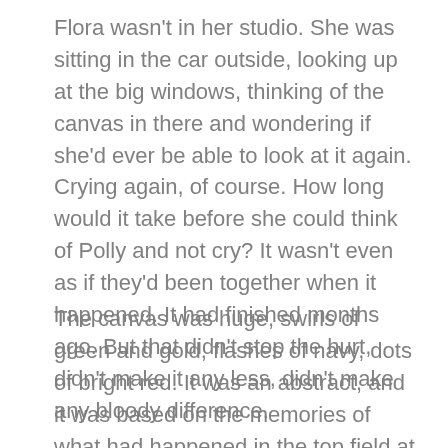Flora wasn't in her studio. She was sitting in the car outside, looking up at the big windows, thinking of the canvas in there and wondering if she'd ever be able to look at it again. Crying again, of course. How long would it take before she could think of Polly and not cry? It wasn't even as if they'd been together when it happened. It had finished months ago. But that didn't stop the hurt, didn't make it any less, didn't make any bloody difference.
The canvas was huge, swirls of green and gold, flashes of navy, dots of bright red. It was an abstract, and it was based on the memories of what had happened in the top field at Hermitage Farm. The field where, on that hot spring day when the world had seemed so suddenly full of